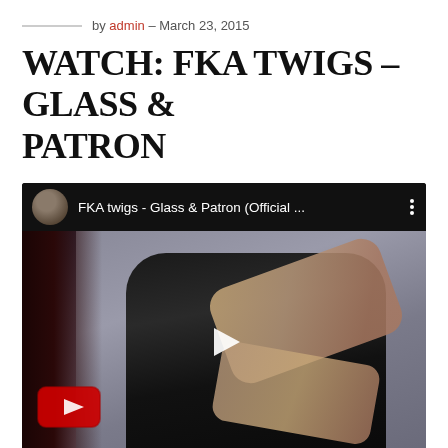by admin – March 23, 2015
WATCH: FKA TWIGS – GLASS & PATRON
[Figure (screenshot): Embedded YouTube video player showing FKA twigs - Glass & Patron (Official ...) with thumbnail of a woman in dark clothing framing her face with her hands, a YouTube logo visible in the bottom left, and a play button in the center.]